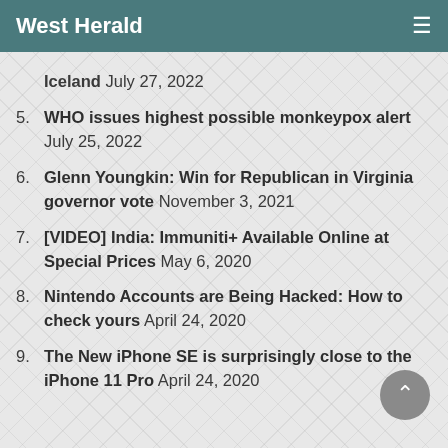West Herald
Iceland July 27, 2022
5. WHO issues highest possible monkeypox alert July 25, 2022
6. Glenn Youngkin: Win for Republican in Virginia governor vote November 3, 2021
7. [VIDEO] India: Immuniti+ Available Online at Special Prices May 6, 2020
8. Nintendo Accounts are Being Hacked: How to check yours April 24, 2020
9. The New iPhone SE is surprisingly close to the iPhone 11 Pro April 24, 2020